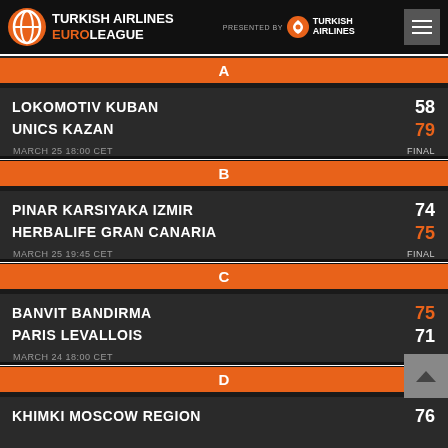[Figure (logo): Turkish Airlines EuroLeague header with logo and navigation]
A
| Team | Score |
| --- | --- |
| LOKOMOTIV KUBAN | 58 |
| UNICS KAZAN | 79 |
| MARCH 25 18:00 CET | FINAL |
B
| Team | Score |
| --- | --- |
| PINAR KARSIYAKA IZMIR | 74 |
| HERBALIFE GRAN CANARIA | 75 |
| MARCH 25 19:45 CET | FINAL |
C
| Team | Score |
| --- | --- |
| BANVIT BANDIRMA | 75 |
| PARIS LEVALLOIS | 71 |
| MARCH 24 18:00 CET | FINAL |
D
| Team | Score |
| --- | --- |
| KHIMKI MOSCOW REGION | 76 |